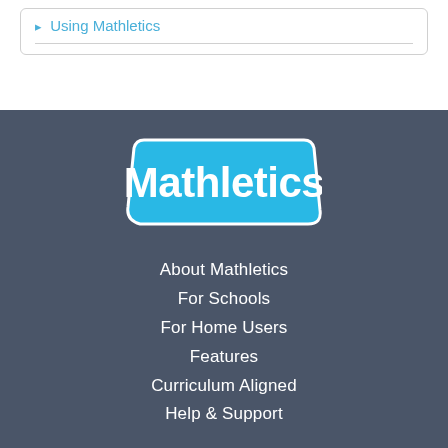Using Mathletics
[Figure (logo): Mathletics logo — white text on blue rounded-trapezoid background]
About Mathletics
For Schools
For Home Users
Features
Curriculum Aligned
Help & Support
About 3P Learning
About Us
Careers
Contact
Privacy Policy